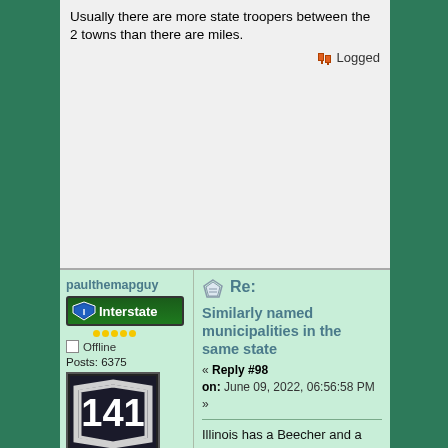Usually there are more state troopers between the 2 towns than there are miles.
Logged
paulthemapguy
Interstate
Offline
Posts: 6375
[Figure (photo): US Route 141 highway sign shield]
nobody asked me
Age: 32
Location: Illinois
Last Login: August 23, 2022, 02:52:57 PM
Re:
Similarly named municipalities in the same state
« Reply #98 on: June 09, 2022, 06:56:58 PM »
Illinois has a Beecher and a Beecher City. Beecher is in Will County; Beecher City is in Effingham County.
Logged